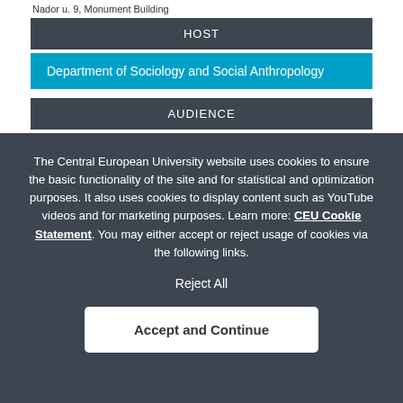Nador u. 9, Monument Building
HOST
Department of Sociology and Social Anthropology
AUDIENCE
The Central European University website uses cookies to ensure the basic functionality of the site and for statistical and optimization purposes. It also uses cookies to display content such as YouTube videos and for marketing purposes. Learn more: CEU Cookie Statement. You may either accept or reject usage of cookies via the following links.
Reject All
Accept and Continue